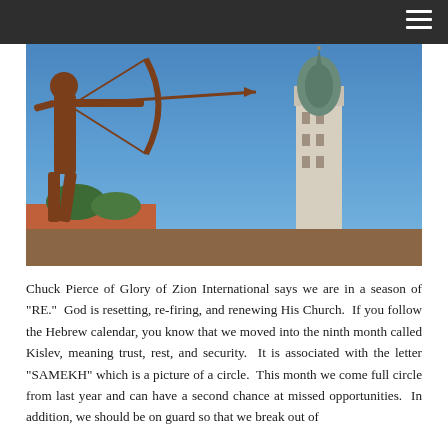[Figure (photo): Metal archer sculpture aimed with bow and arrow, with a European church tower with ornate dome visible in the background against a clear blue sky.]
Chuck Pierce of Glory of Zion International says we are in a season of "RE."  God is resetting, re-firing, and renewing His Church.  If you follow the Hebrew calendar, you know that we moved into the ninth month called Kislev, meaning trust, rest, and security.  It is associated with the letter "SAMEKH" which is a picture of a circle.  This month we come full circle from last year and can have a second chance at missed opportunities.  In addition, we should be on guard so that we break out of